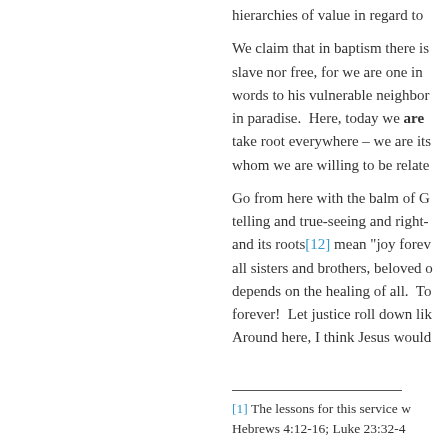hierarchies of value in regard to
We claim that in baptism there is slave nor free, for we are one in words to his vulnerable neighbor in paradise.  Here, today we are take root everywhere – we are its whom we are willing to be relate
Go from here with the balm of G telling and true-seeing and right- and its roots[12] mean "joy forev all sisters and brothers, beloved depends on the healing of all.  To forever!  Let justice roll down lik Around here, I think Jesus would
[1] The lessons for this service w Hebrews 4:12-16; Luke 23:32-4